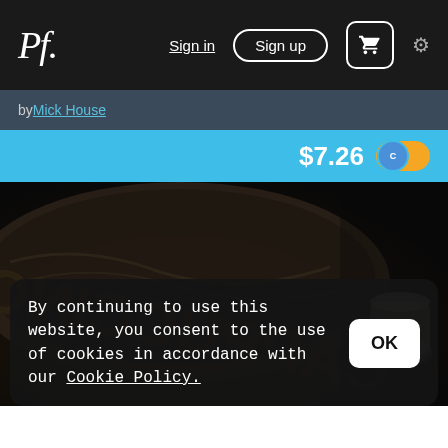Pf. Sign in Sign up [cart] [settings]
by Mick House
$7.26
[Figure (photo): Close-up sepia/dark photo of a cappuccino cup with the word CAPPUCCINO visible mirrored on the surface, and a small cup/shaker to the right]
By continuing to use this website, you consent to the use of cookies in accordance with our Cookie Policy.